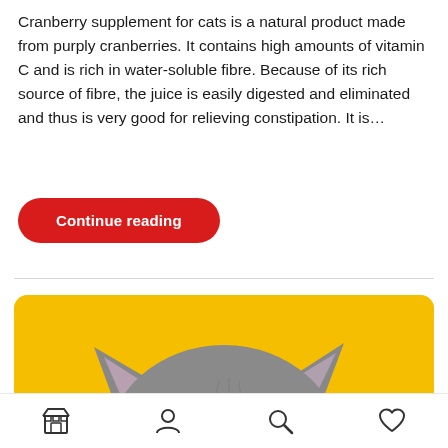Cranberry supplement for cats is a natural product made from purply cranberries. It contains high amounts of vitamin C and is rich in water-soluble fibre. Because of its rich source of fibre, the juice is easily digested and eliminated and thus is very good for relieving constipation. It is…
Continue reading
[Figure (photo): A grey cat peeking up from the bottom against a bright yellow background, showing only the top of its head and eyes.]
Navigation bar with store, profile, search, and heart/favourite icons